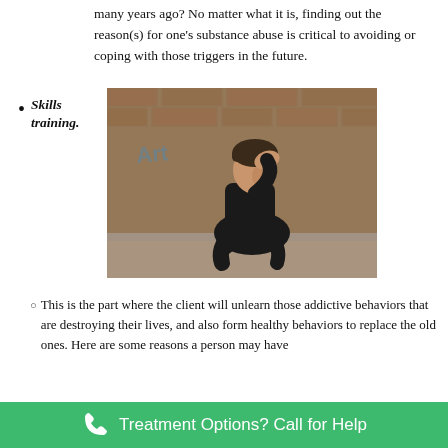many years ago? No matter what it is, finding out the reason(s) for one's substance abuse is critical to avoiding or coping with those triggers in the future.
Skills training.
[Figure (photo): Young man in dark clothing sitting outside against a graffiti brick wall, holding his head in his hand in a distressed pose.]
This is the part where the client will unlearn those addictive behaviors that are destroying their lives, and also form healthy behaviors to replace the old ones. Here are some reasons a person may have
Treatment Options? Call for Help